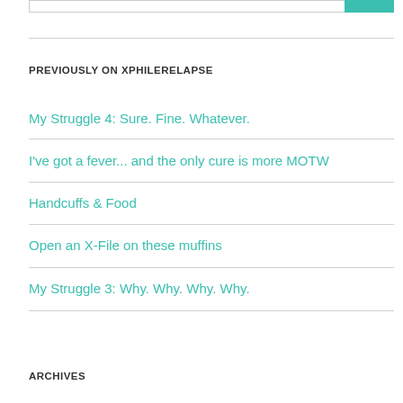PREVIOUSLY ON XPHILERELAPSE
My Struggle 4: Sure. Fine. Whatever.
I've got a fever... and the only cure is more MOTW
Handcuffs & Food
Open an X-File on these muffins
My Struggle 3: Why. Why. Why. Why.
ARCHIVES